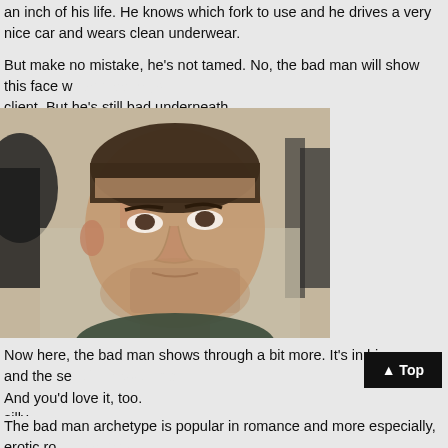an inch of his life. He knows which fork to use and he drives a very nice car and wears clean underwear.
But make no mistake, he's not tamed. No, the bad man will show this face when meeting a client. But he's still bad underneath.
[Figure (photo): A man sitting in a sports car, looking intensely to the upper left. He has short dark hair, stubble, and is wearing a dark t-shirt. The background shows a blurred urban street scene.]
Now here, the bad man shows through a bit more. It's in his eyes and the set of his jaw. He'd quite happily bend you over the hood of that sports car and fuck you silly.
And you'd love it, too.
The bad man archetype is popular in romance and more especially, erotic romance. We don't want a womanizer (ick). We don't want a jerk or an asshole. We want